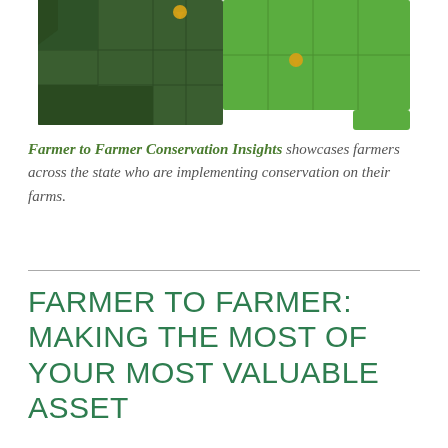[Figure (map): Partial map of the continental United States showing states highlighted in dark green (western/plains states) and bright green (midwestern/eastern states), with two yellow location pin markers indicating farm locations.]
Farmer to Farmer Conservation Insights showcases farmers across the state who are implementing conservation on their farms.
FARMER TO FARMER: MAKING THE MOST OF YOUR MOST VALUABLE ASSET